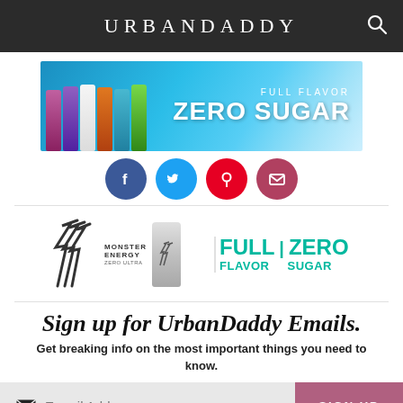URBANDADDY
[Figure (infographic): Monster Energy Zero Ultra ad banner with colorful cans and 'FULL FLAVOR ZERO SUGAR' text on blue background]
[Figure (infographic): Social media share buttons: Facebook (blue), Twitter (light blue), Pinterest (red), email (dark red/maroon) — circular icons]
[Figure (infographic): Monster Energy Zero Ultra ad with logo, can image, and 'FULL FLAVOR | ZERO SUGAR' in teal text]
Sign up for UrbanDaddy Emails.
Get breaking info on the most important things you need to know.
E-mail Address
SIGN UP
I AM 21+ YEARS OLD